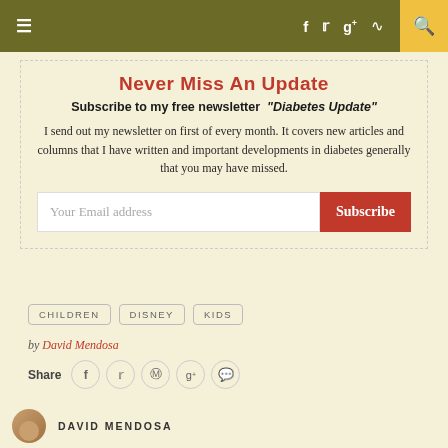≡  f  𝕏  g+  RSS  🔍
Never Miss An Update
Subscribe to my free newsletter "Diabetes Update"
I send out my newsletter on first of every month. It covers new articles and columns that I have written and important developments in diabetes generally that you may have missed.
Your Email address  [Subscribe]
CHILDREN
DISNEY
KIDS
by David Mendosa
Share  f  𝕏  ℗  g+  💬
DAVID MENDOSA